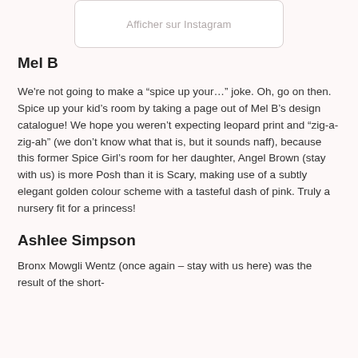[Figure (screenshot): Instagram embed placeholder box with text 'Afficher sur Instagram']
Mel B
We're not going to make a “spice up your…” joke. Oh, go on then. Spice up your kid’s room by taking a page out of Mel B’s design catalogue! We hope you weren’t expecting leopard print and “zig-a-zig-ah” (we don’t know what that is, but it sounds naff), because this former Spice Girl’s room for her daughter, Angel Brown (stay with us) is more Posh than it is Scary, making use of a subtly elegant golden colour scheme with a tasteful dash of pink. Truly a nursery fit for a princess!
Ashlee Simpson
Bronx Mowgli Wentz (once again – stay with us here) was the result of the short-